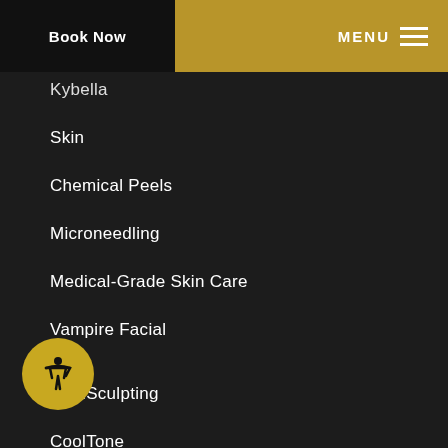Book Now | MENU
Kybella
Skin
Chemical Peels
Microneedling
Medical-Grade Skin Care
Vampire Facial
CoolSculpting
CoolTone
Laser Hair Removal
Joint Pain Treatment